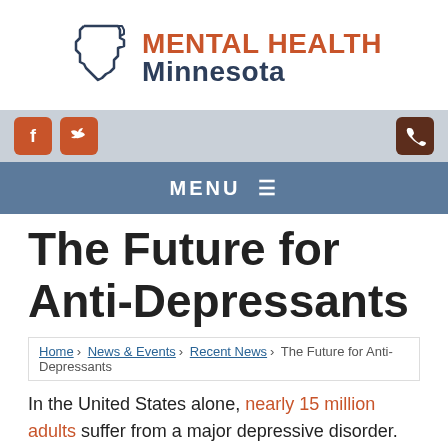[Figure (logo): Mental Health Minnesota logo with Minnesota state outline silhouette and text 'MENTAL HEALTH Minnesota']
[Figure (infographic): Social media bar with Facebook icon (orange), Twitter icon (orange), and phone icon (dark brown) on grey background]
[Figure (infographic): Navigation menu bar with 'MENU' text and hamburger icon on steel blue background]
The Future for Anti-Depressants
Home › News & Events › Recent News › The Future for Anti-Depressants
In the United States alone, nearly 15 million adults suffer from a major depressive disorder. Though there are several treatment options, many of the medications that are